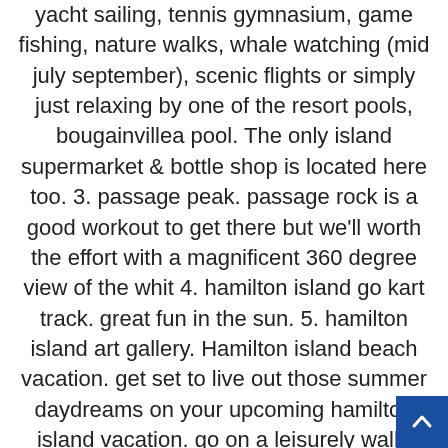yacht sailing, tennis gymnasium, game fishing, nature walks, whale watching (mid july september), scenic flights or simply just relaxing by one of the resort pools, bougainvillea pool. The only island supermarket & bottle shop is located here too. 3. passage peak. passage rock is a good workout to get there but we'll worth the effort with a magnificent 360 degree view of the whit 4. hamilton island go kart track. great fun in the sun. 5. hamilton island art gallery. Hamilton island beach vacation. get set to live out those summer daydreams on your upcoming hamilton island vacation. go on a leisurely walk, admire the spectacular coastal views and pick up pretty seashells on your trip to hamilton island. located just 1 mile (1 km) from the center of town, catseye beach is the place to be for many visitors.